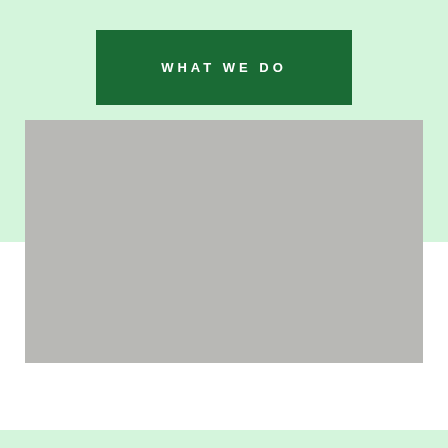WHAT WE DO
[Figure (photo): Gray placeholder image area representing a photograph]